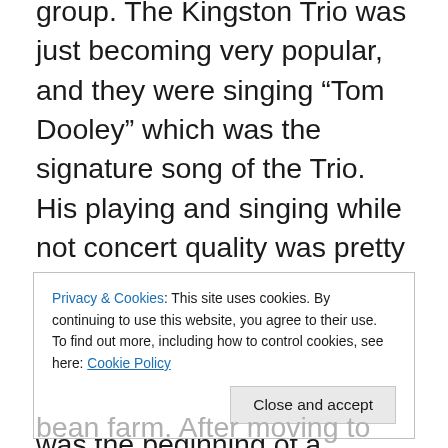group. The Kingston Trio was just becoming very popular, and they were singing “Tom Dooley” which was the signature song of the Trio. His playing and singing while not concert quality was pretty good, so I joined them in singing. I told them I would get my Gibson guitar and join them if that was alright. This was the beginning of a friendship born in Kingston Trio type folk music and nurtured through the years by many common interests including most of all, love of God, family, country and country music, especially Flatt and Scruggs bluegrass..
Privacy & Cookies: This site uses cookies. By continuing to use this website, you agree to their use.
To find out more, including how to control cookies, see here: Cookie Policy
Close and accept
bean farm. After moving to West Memphis following